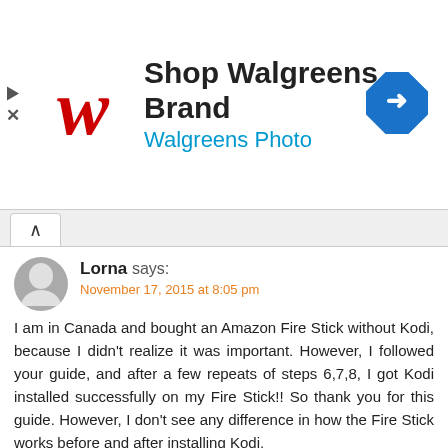[Figure (other): Walgreens advertisement banner with red script W logo, text 'Shop Walgreens Brand' and 'Walgreens Photo', and a blue diamond navigation arrow icon on the right.]
Lorna says:
November 17, 2015 at 8:05 pm
I am in Canada and bought an Amazon Fire Stick without Kodi, because I didn't realize it was important. However, I followed your guide, and after a few repeats of steps 6,7,8, I got Kodi installed successfully on my Fire Stick!! So thank you for this guide. However, I don't see any difference in how the Fire Stick works before and after installing Kodi.
I seem to have other problems with the Fire Stick, such as Netflix will not work. It says Netflix is incompatible with my device. Even though I have a Netflix account (actually a Mexican Netflix account which works just fine in Canada on other devices), there is no opportunity to sign into it. When I try to watch some free programs, it claims I am not connected to the internet, even though under Settings on the Fire Stick, it clearly says I am